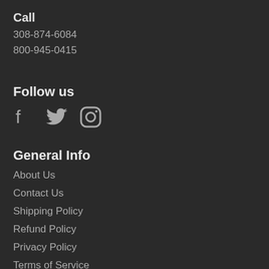Call
308-874-6084
800-945-0415
Follow us
[Figure (illustration): Social media icons: Facebook, Twitter, Instagram]
General Info
About Us
Contact Us
Shipping Policy
Refund Policy
Privacy Policy
Terms of Service